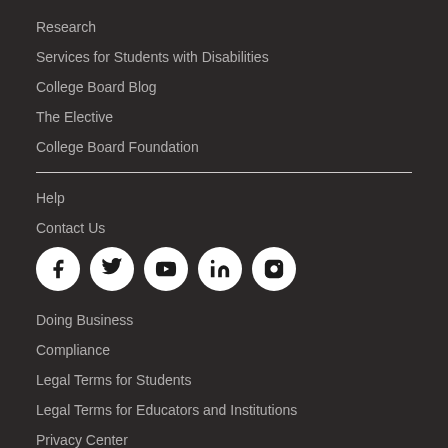Research
Services for Students with Disabilities
College Board Blog
The Elective
College Board Foundation
Help
Contact Us
[Figure (infographic): Social media icons row: Facebook, Twitter, YouTube, LinkedIn, Instagram — white circles with dark icons]
Doing Business
Compliance
Legal Terms for Students
Legal Terms for Educators and Institutions
Privacy Center